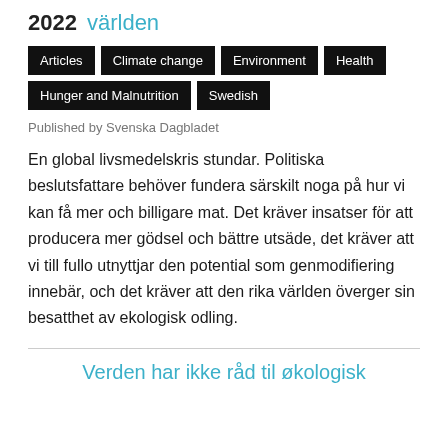2022 världen
Articles
Climate change
Environment
Health
Hunger and Malnutrition
Swedish
Published by Svenska Dagbladet
En global livsmedelskris stundar. Politiska beslutsfattare behöver fundera särskilt noga på hur vi kan få mer och billigare mat. Det kräver insatser för att producera mer gödsel och bättre utsäde, det kräver att vi till fullo utnyttjar den potential som genmodifiering innebär, och det kräver att den rika världen överger sin besatthet av ekologisk odling.
Verden har ikke råd til økologisk